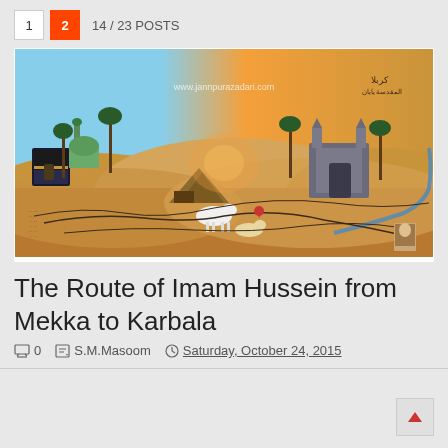1  2  14 / 23 POSTS
[Figure (photo): Illustrated painting/map showing the route of Imam Hussein from Mekka to Karbala, featuring Islamic monuments including the Kaaba, mosques, palm trees, desert landscape, horses, tents, and Arabic calligraphy route markings. Watermark reads www.jannpurazadari.com]
The Route of Imam Hussein from Mekka to Karbala
0  S.M.Masoom  Saturday, October 24, 2015